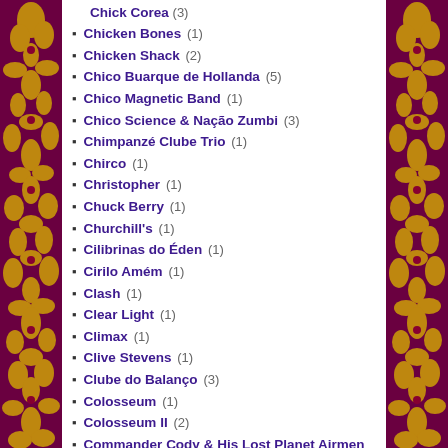Chick Corea (3)
Chicken Bones (1)
Chicken Shack (2)
Chico Buarque de Hollanda (5)
Chico Magnetic Band (1)
Chico Science & Nação Zumbi (3)
Chimpanzé Clube Trio (1)
Chirco (1)
Christopher (1)
Chuck Berry (1)
Churchill's (1)
Cilibrinas do Éden (1)
Cirilo Amém (1)
Clash (1)
Clear Light (1)
Climax (1)
Clive Stevens (1)
Clube do Balanço (3)
Colosseum (1)
Colosseum II (2)
Commander Cody & His Lost Planet Airmen (3)
Common People (1)